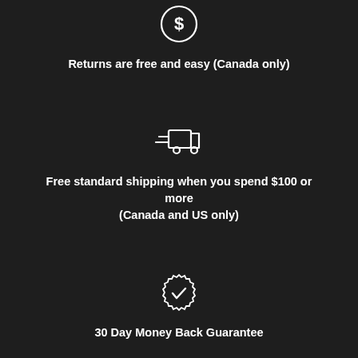[Figure (illustration): Dollar sign icon inside a circle, white outline on dark background]
Returns are free and easy (Canada only)
[Figure (illustration): Delivery truck icon with speed lines, white outline on dark background]
Free standard shipping when you spend $100 or more (Canada and US only)
[Figure (illustration): Checkmark inside a badge/seal icon, white outline on dark background]
30 Day Money Back Guarantee